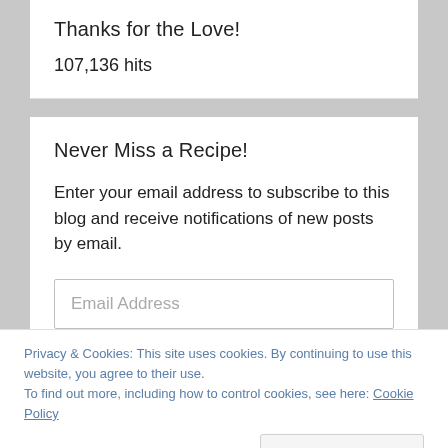Thanks for the Love!
107,136 hits
Never Miss a Recipe!
Enter your email address to subscribe to this blog and receive notifications of new posts by email.
Email Address
Privacy & Cookies: This site uses cookies. By continuing to use this website, you agree to their use.
To find out more, including how to control cookies, see here: Cookie Policy
Close and accept